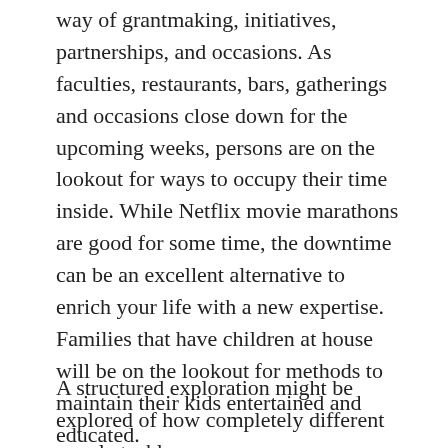way of grantmaking, initiatives, partnerships, and occasions. As faculties, restaurants, bars, gatherings and occasions close down for the upcoming weeks, persons are on the lookout for ways to occupy their time inside. While Netflix movie marathons are good for some time, the downtime can be an excellent alternative to enrich your life with a new expertise. Families that have children at house will be on the lookout for methods to maintain their kids entertained and educated.
A structured exploration might be explored of how completely different people tackle